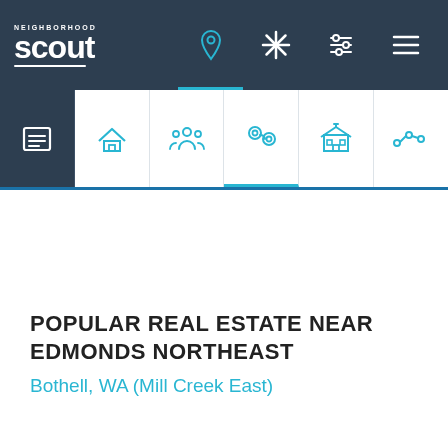[Figure (screenshot): NeighborhoodScout website header with dark navy navigation bar showing the Scout logo on the left and navigation icons (location pin, asterisk/star, sliders, hamburger menu) on the right. Below is a white icon tab row with six category icons: overview (calendar/list, highlighted in dark), real estate (house), demographics (people), crime (handcuffs), schools (building), and trends (line graph). The crime/location icon tab has a blue underline indicator.]
POPULAR REAL ESTATE NEAR EDMONDS NORTHEAST
Bothell, WA (Mill Creek East)